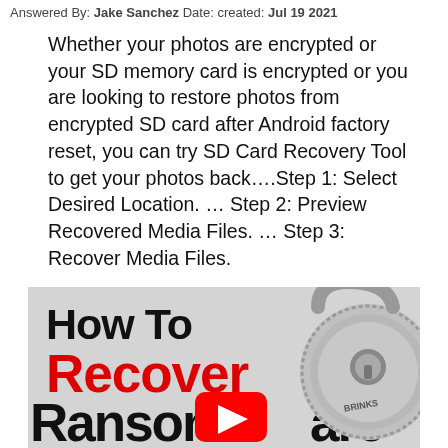Answered By: Jake Sanchez Date: created: Jul 19 2021
Whether your photos are encrypted or your SD memory card is encrypted or you are looking to restore photos from encrypted SD card after Android factory reset, you can try SD Card Recovery Tool to get your photos back....Step 1: Select Desired Location. … Step 2: Preview Recovered Media Files. … Step 3: Recover Media Files.
[Figure (screenshot): Thumbnail image showing 'How To Recover Ransomware Encrypted' text in bold black and red with a YouTube play button overlay and a Brinks padlock on the right side.]